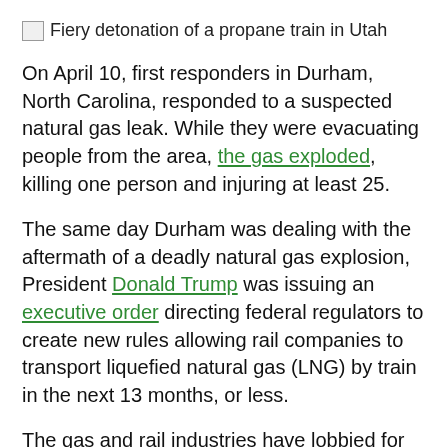[Figure (other): Broken image icon with alt text: Fiery detonation of a propane train in Utah]
On April 10, first responders in Durham, North Carolina, responded to a suspected natural gas leak. While they were evacuating people from the area, the gas exploded, killing one person and injuring at least 25.
The same day Durham was dealing with the aftermath of a deadly natural gas explosion, President Donald Trump was issuing an executive order directing federal regulators to create new rules allowing rail companies to transport liquefied natural gas (LNG) by train in the next 13 months, or less.
The gas and rail industries have lobbied for years to allow LNG by rail, and have found a willing partner in the Trump administration. Last week’s executive order was cheered by lobbyists for both natural gas and rail. One lobbyist, Charlie Riedl of the Center for Liquefied Natural Gas